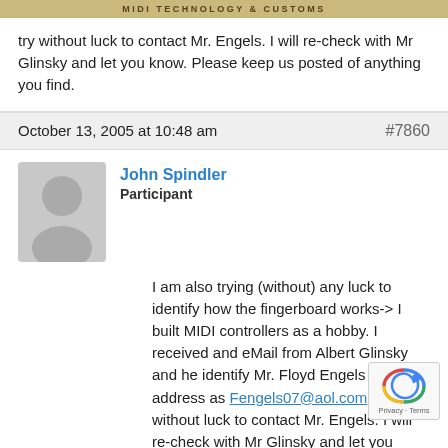MIDI TECHNOLOGY & CUSTOMS
try without luck to contact Mr. Engels. I will re-check with Mr Glinsky and let you know. Please keep us posted of anything you find.
October 13, 2005 at 10:48 am  #7860
John Spindler
Participant
I am also trying (without) any luck to identify how the fingerboard works-> I built MIDI controllers as a hobby. I received and eMail from Albert Glinsky and he identify Mr. Floyd Engels email address as Fengels07@aol.com. I try without luck to contact Mr. Engels. I will re-check with Mr Glinsky and let you know. Please keep us posted of anything you find.
Dear Victor,
Thanks for your reply, when I find Floyd´s address I certainly will share it with you. By the way I live in Sao